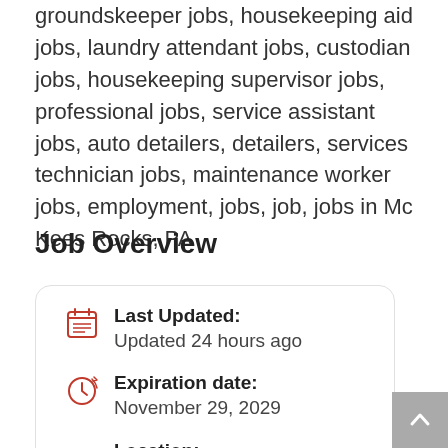groundskeeper jobs, housekeeping aid jobs, laundry attendant jobs, custodian jobs, housekeeping supervisor jobs, professional jobs, service assistant jobs, auto detailers, detailers, services technician jobs, maintenance worker jobs, employment, jobs, job, jobs in Mc Kees Rocks, PA
Job Overview
Last Updated: Updated 24 hours ago
Expiration date: November 29, 2029
Location: